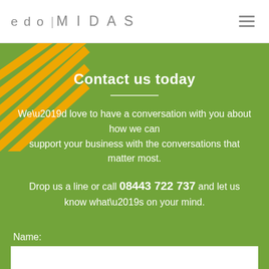edo MIDAS
Contact us today
We’d love to have a conversation with you about how we can support your business with the conversations that matter most.
Drop us a line or call 08443 722 737 and let us know what’s on your mind.
Name: